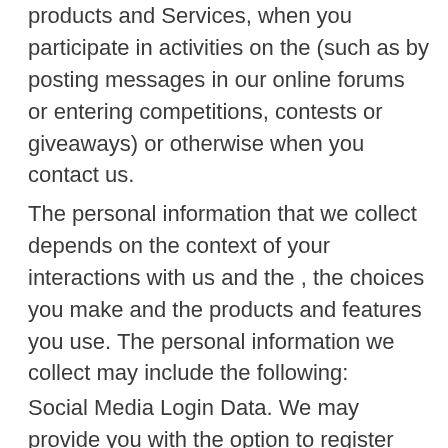products and Services, when you participate in activities on the (such as by posting messages in our online forums or entering competitions, contests or giveaways) or otherwise when you contact us.
The personal information that we collect depends on the context of your interactions with us and the , the choices you make and the products and features you use. The personal information we collect may include the following:
Social Media Login Data. We may provide you with the option to register